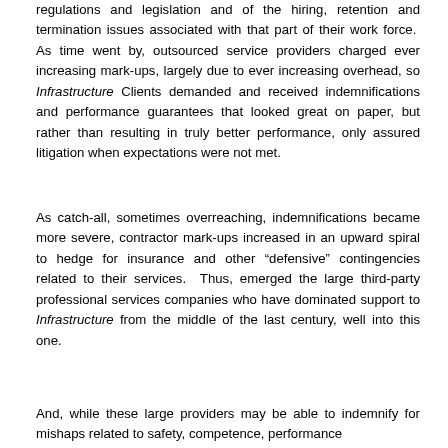regulations and legislation and of the hiring, retention and termination issues associated with that part of their work force. As time went by, outsourced service providers charged ever increasing mark-ups, largely due to ever increasing overhead, so Infrastructure Clients demanded and received indemnifications and performance guarantees that looked great on paper, but rather than resulting in truly better performance, only assured litigation when expectations were not met.
As catch-all, sometimes overreaching, indemnifications became more severe, contractor mark-ups increased in an upward spiral to hedge for insurance and other “defensive” contingencies related to their services. Thus, emerged the large third-party professional services companies who have dominated support to Infrastructure from the middle of the last century, well into this one.
And, while these large providers may be able to indemnify for mishaps related to safety, competence, performance